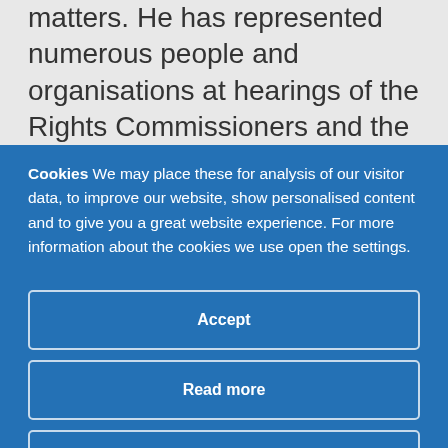matters. He has represented numerous people and organisations at hearings of the Rights Commissioners and the Employment Appeals Tribunal...
Cookies We may place these for analysis of our visitor data, to improve our website, show personalised content and to give you a great website experience. For more information about the cookies we use open the settings.
Accept
Read more
Change Settings